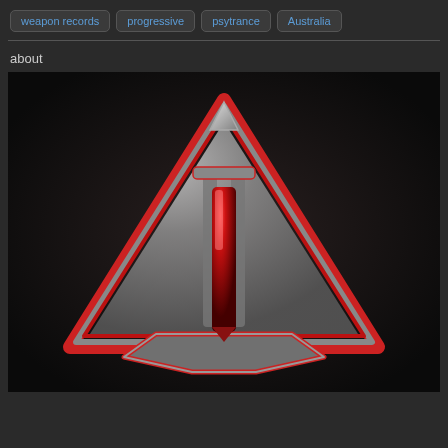weapon records
progressive
psytrance
Australia
about
[Figure (logo): Weapon Records logo: a metallic badge/shield shape with a red and silver stylized weapon/bullet design inside a triangular frame with red trim on a dark background]